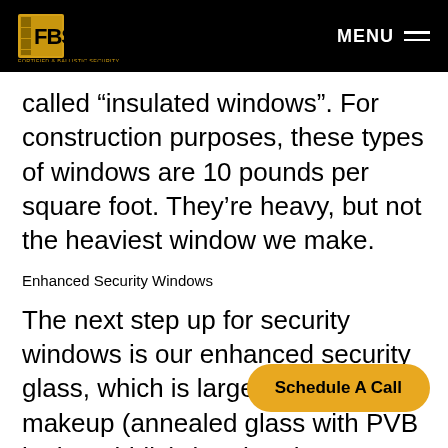FBS FORTIFIED & BALLISTIC SECURITY | MENU
called “insulated windows”. For construction purposes, these types of windows are 10 pounds per square foot. They’re heavy, but not the heaviest window we make.
Enhanced Security Windows
The next step up for security windows is our enhanced security glass, which is largely the same makeup (annealed glass with PVB in the middle), but the glass we use is thicker. Because the panes are thicker, there is less flex in the glass.This type o… y level for large, fixed windows because it